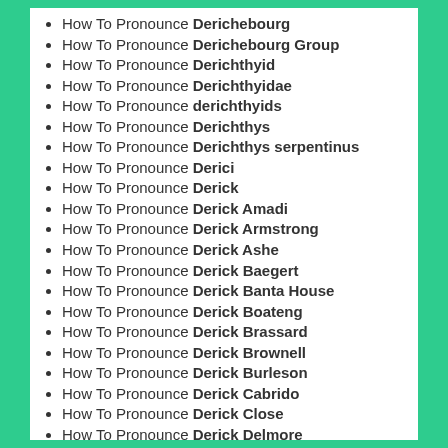How To Pronounce Derichebourg
How To Pronounce Derichebourg Group
How To Pronounce Derichthyid
How To Pronounce Derichthyidae
How To Pronounce derichthyids
How To Pronounce Derichthys
How To Pronounce Derichthys serpentinus
How To Pronounce Derici
How To Pronounce Derick
How To Pronounce Derick Amadi
How To Pronounce Derick Armstrong
How To Pronounce Derick Ashe
How To Pronounce Derick Baegert
How To Pronounce Derick Banta House
How To Pronounce Derick Boateng
How To Pronounce Derick Brassard
How To Pronounce Derick Brownell
How To Pronounce Derick Burleson
How To Pronounce Derick Cabrido
How To Pronounce Derick Close
How To Pronounce Derick Delmore
How To Pronounce Derick Etwaroo
How To Pronounce Derick Grant